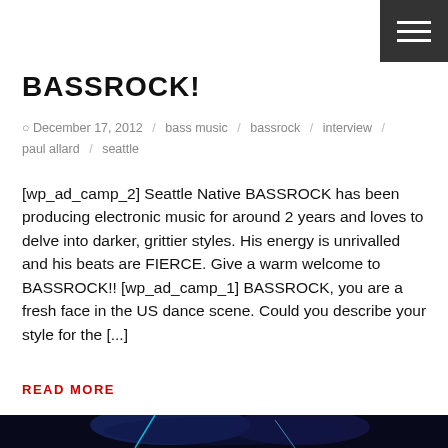BASSROCK!
December 17, 2012   bass music   bassrock   interview   paul allard   seattle
[wp_ad_camp_2] Seattle Native BASSROCK has been producing electronic music for around 2 years and loves to delve into darker, grittier styles. His energy is unrivalled and his beats are FIERCE. Give a warm welcome to BASSROCK!! [wp_ad_camp_1] BASSROCK, you are a fresh face in the US dance scene. Could you describe your style for the [...]
READ MORE
[Figure (photo): Dark concert photo showing two performers in glowing blue neon outfits dancing on stage with a crowd in the background]